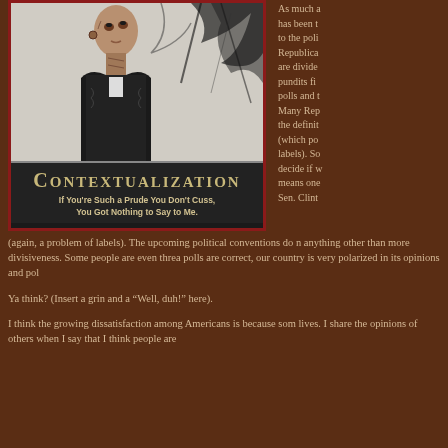[Figure (photo): Motivational poster showing a heavily tattooed bald man looking upward against an abstract black and white splatter background. Text reads: CONTEXTUALIZATION - If You're Such a Prude You Don't Cuss, You Got Nothing to Say to Me. Small logos in bottom right.]
As much a has been t to the poli Republica are divide pundits fi polls and t Many Rep the definit (which po labels). So decide if v means one Sen. Clint
(again, a problem of labels). The upcoming political conventions do n anything other than more divisiveness. Some people are even threa polls are correct, our country is very polarized in its opinions and pol
Ya think? (Insert a grin and a “Well, duh!” here).
I think the growing dissatisfaction among Americans is because som lives. I share the opinions of others when I say that I think people are